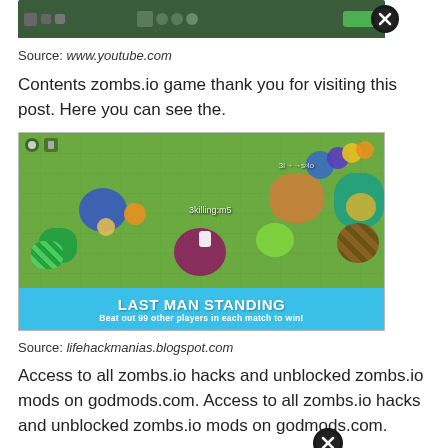[Figure (screenshot): Top portion of a YouTube video screenshot showing a game, with a close/X button overlay]
Source: www.youtube.com
Contents zombs.io game thank you for visiting this post. Here you can see the.
[Figure (screenshot): Screenshot of zombs.io game showing Last Man Standing mode with colorful blobs/orbs on green grid background. Banner reads: LAST MAN STANDING / Beat out 99 other players in each match to win!]
Source: lifehackmanias.blogspot.com
Access to all zombs.io hacks and unblocked zombs.io mods on godmods.com. Access to all zombs.io hacks and unblocked zombs.io mods on godmods.com.